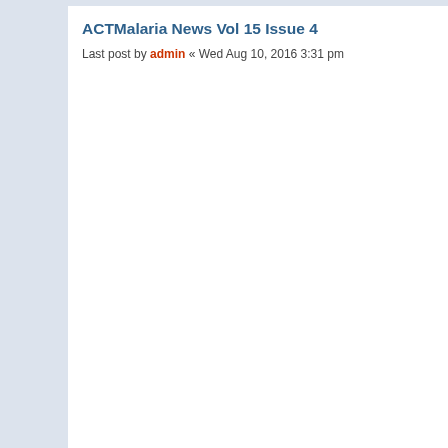ACTMalaria News Vol 15 Issue 4
Last post by admin « Wed Aug 10, 2016 3:31 pm